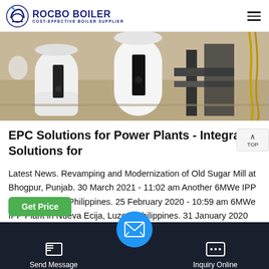ROCBO BOILER - COST-EFFECTIVE BOILER SUPPLIER
[Figure (photo): Industrial boiler equipment in a warehouse/factory setting. White cylindrical boiler units and machinery visible on a concrete floor.]
EPC Solutions for Power Plants - Integrated Solutions for
Latest News. Revamping and Modernization of Old Sugar Mill at Bhogpur, Punjab. 30 March 2021 - 11:02 am Another 6MWe IPP Plant in Luzon, Philippines. 25 February 2020 - 10:59 am 6MWe IPP Plant in Nueva Ecija, Luzon, Philippines. 31 January 2020 -...
Send Message | Inquiry Online